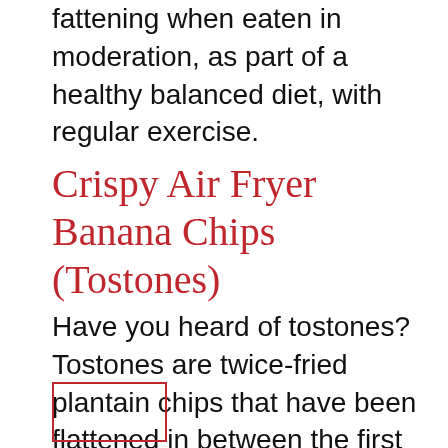fattening when eaten in moderation, as part of a healthy balanced diet, with regular exercise.
Crispy Air Fryer Banana Chips (Tostones)
Have you heard of tostones? Tostones are twice-fried plantain chips that have been flattened in between the first and second frying. Tostones are popular in Latin American and Caribbean cuisine and are served as a side dish or snack.